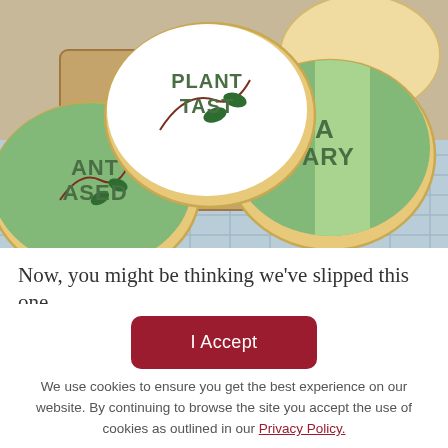[Figure (photo): Close-up photo of decorated round sugar cookies with green fondant icing. Text stamped on cookies reads 'PLANT BASED' and 'VEGANUARY' with green leaf decorations, arranged on a wooden board and blue checkered cloth.]
Now, you might be thinking we've slipped this one
I Accept
We use cookies to ensure you get the best experience on our website. By continuing to browse the site you accept the use of cookies as outlined in our Privacy Policy.